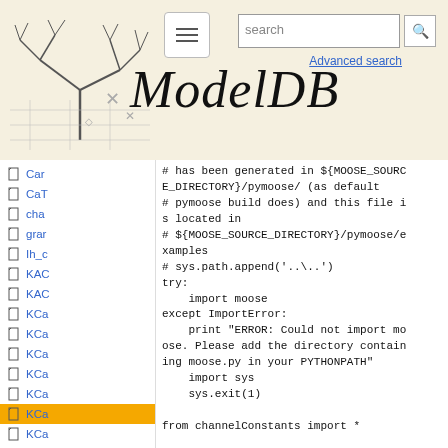ModelDB — search bar header with logo and navigation
Car
CaT
cha
grar
Ih_c
KAC
KAC
KCa
KCa
KCa
KCa
KCa
KCa (active)
KCa
# has been generated in ${MOOSE_SOURCE_DIRECTORY}/pymoose/ (as default
# pymoose build does) and this file is located in
# ${MOOSE_SOURCE_DIRECTORY}/pymoose/examples
# sys.path.append('..\..')
try:
    import moose
except ImportError:
    print "ERROR: Could not import moose. Please add the directory containing moose.py in your PYTHONPATH"
    import sys
    sys.exit(1)

from channelConstants import *

##### MPI stuff
## This Channel needs to write a data